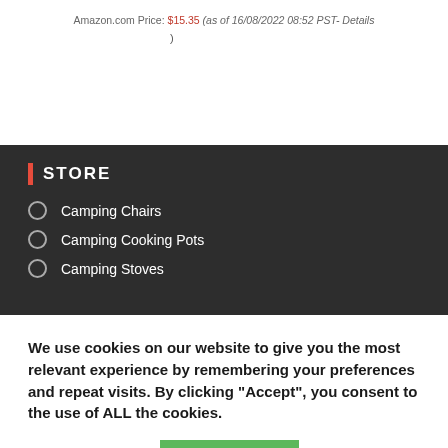Amazon.com Price: $15.35 (as of 16/08/2022 08:52 PST- Details
)
Store
Camping Chairs
Camping Cooking Pots
Camping Stoves
We use cookies on our website to give you the most relevant experience by remembering your preferences and repeat visits. By clicking “Accept”, you consent to the use of ALL the cookies.
Cookie settings  ACCEPT